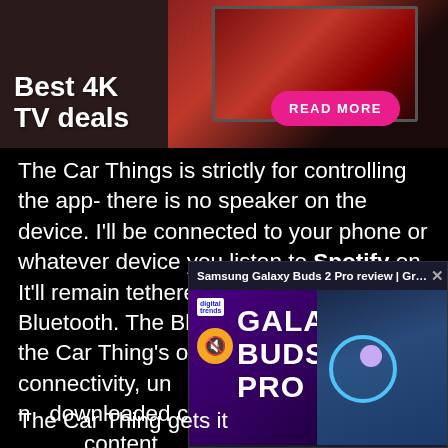[Figure (screenshot): Advertisement banner for 'Best 4K TV deals' with a TV image on dark red/brown background, pink 'READ MORE' button]
The Car Things is strictly for controlling the app- there is no speaker on the device. I'll be connected to your phone or whatever device you listen to Spotify on. It'll remain tethered to the device via Bluetooth. The Bluetooth connection is the Car Thing's only means of WiFi connectivity, until the thing is that there's no downloaded content content.
[Figure (screenshot): Floating video popup overlay: 'Samsung Galaxy Buds 2 Pro review | Gr...' with close X button. Thumbnail shows purple background with 'GALAXY BUDS 2 PRO' text, Digital Trends logo, muted audio icon, a man holding earbuds, and a teal ring circle.]
The Car Thing gets it